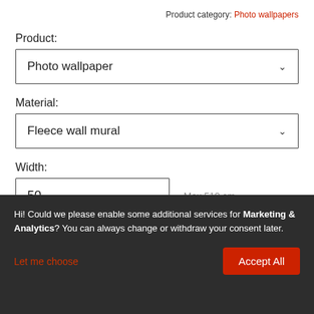Product category: Photo wallpapers
Product:
Photo wallpaper
Material:
Fleece wall mural
Width:
50
Max 519 cm
Hi! Could we please enable some additional services for Marketing & Analytics? You can always change or withdraw your consent later.
Let me choose
Accept All